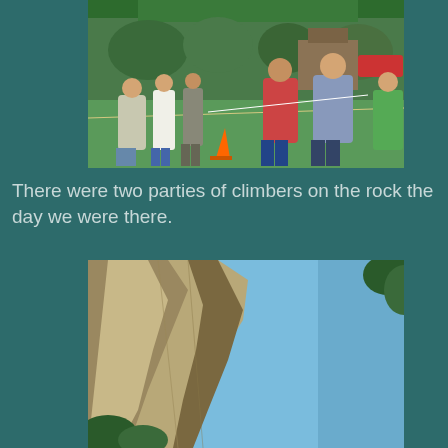[Figure (photo): Outdoor scene with a group of people standing in a line behind a rope barrier on a green surface, under green canopy tents, with trees and a building in the background.]
There were two parties of climbers on the rock the day we were there.
[Figure (photo): Upward view of a tall rocky cliff face with some trees and a bright blue sky.]